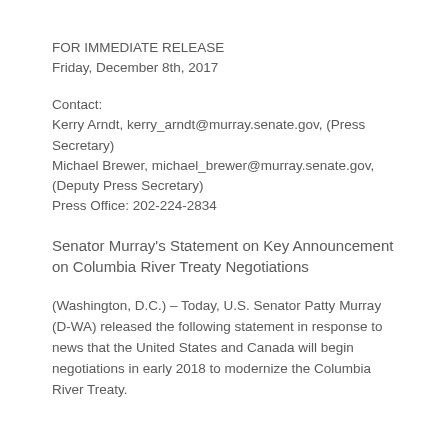FOR IMMEDIATE RELEASE
Friday, December 8th, 2017
Contact:
Kerry Arndt, kerry_arndt@murray.senate.gov, (Press Secretary)
Michael Brewer, michael_brewer@murray.senate.gov, (Deputy Press Secretary)
Press Office: 202-224-2834
Senator Murray's Statement on Key Announcement on Columbia River Treaty Negotiations
(Washington, D.C.) – Today, U.S. Senator Patty Murray (D-WA) released the following statement in response to news that the United States and Canada will begin negotiations in early 2018 to modernize the Columbia River Treaty.